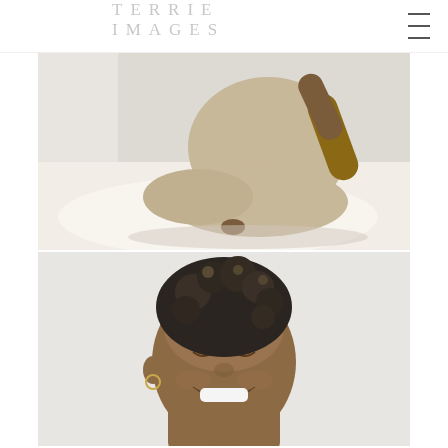TERRIE IMAGES
[Figure (photo): Top-down view of a Black woman sitting cross-legged on a white bed/floor, wearing a beige/cream outfit, reaching her arm back]
[Figure (photo): Portrait of a Black woman with natural curly hair in an updo, smiling with eyes closed, wearing a small hoop earring, against a light gray/white background]